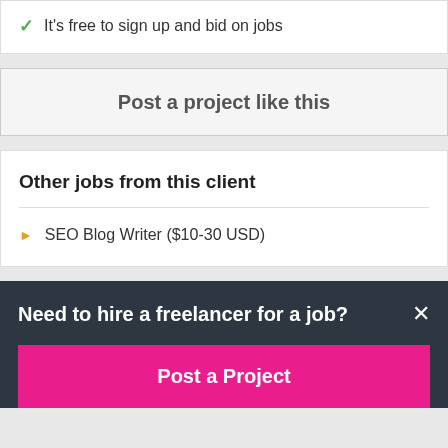✓ It's free to sign up and bid on jobs
Post a project like this
Other jobs from this client
SEO Blog Writer ($10-30 USD)
Need to hire a freelancer for a job?
Post a Project